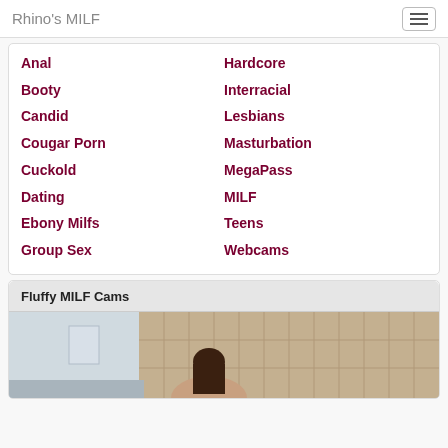Rhino's MILF
Anal
Hardcore
Booty
Interracial
Candid
Lesbians
Cougar Porn
Masturbation
Cuckold
MegaPass
Dating
MILF
Ebony Milfs
Teens
Group Sex
Webcams
Fluffy MILF Cams
[Figure (photo): Woman sitting in front of a padded headboard, partial view, indoor setting]